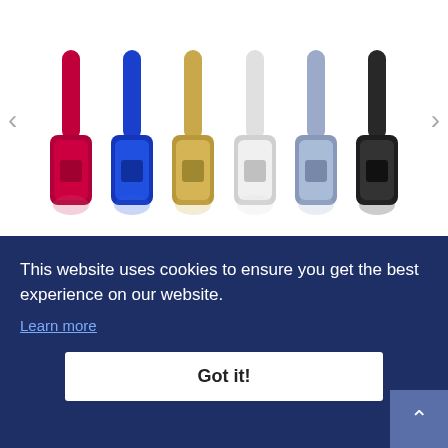[Figure (photo): Six wireless Bluetooth headphones in different colors (red, blue, gold, white, light blue/silver, black) displayed in a row on a white background, with left and right navigation arrows on the sides.]
★★★★★ 6 reviews
August EP650 Wireless Bluetooth Headphones With Android/IOS App For Custom
£44.95
This website uses cookies to ensure you get the best experience on our website.
Learn more
Got it!